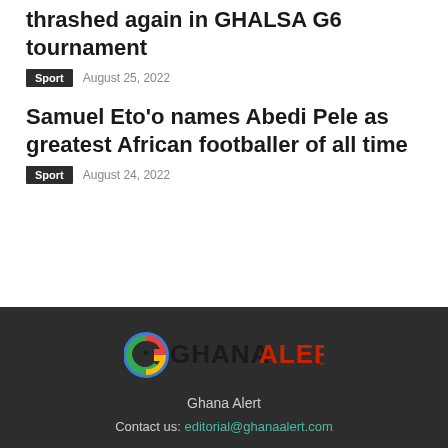thrashed again in GHALSA G6 tournament
Sport   August 25, 2022
Samuel Eto'o names Abedi Pele as greatest African footballer of all time
Sport   August 24, 2022
[Figure (logo): Ghana Alert logo with colorful G and GHANA in dark text and ALERT in red-orange]
Ghana Alert
Contact us: editorial@ghanaalert.com